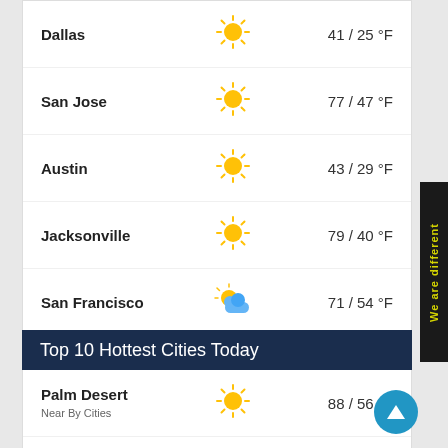Dallas — 41 / 25 °F
San Jose — 77 / 47 °F
Austin — 43 / 29 °F
Jacksonville — 79 / 40 °F
San Francisco — 71 / 54 °F
Indianapolis — 22 / 9 °F
Washington DC — 47 / 23 °F
Top 10 Hottest Cities Today
Palm Desert
Near By Cities — 88 / 56 °F
Colton
Near By Cities — 88 / 55 °F